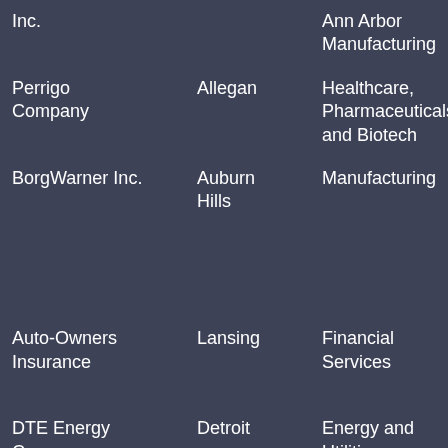| Company | City | Industry | Sub-industry |
| --- | --- | --- | --- |
| Inc. |  | Ann Arbor Manufacturing | Boats Vehicl… |
| Perrigo Company | Allegan | Healthcare, Pharmaceuticals and Biotech | Pharm… |
| BorgWarner Inc. | Auburn Hills | Manufacturing | Autom… Boats Vehicl… Insura… Risk Manag… |
| Auto-Owners Insurance | Lansing | Financial Services | Insura… Risk Manag… |
| DTE Energy Company | Detroit | Energy and Utilities | Gas a… Utilitie… |
| Whirlpool Corporation | Benton Harbor | Manufacturing | Tools, and Li… Machi… |
| Herman Miller, Inc. | Zeeland | Manufacturing | Furnit… Manu… |
| Universal Forest Products | Grand Rapids | Manufacturing | Furnit… Manu… Concr… |
| Masco Corporation Inc. | Taylor | Manufacturing | Glass Buildi… |